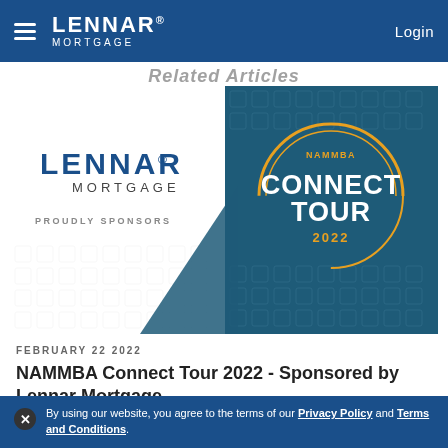LENNAR MORTGAGE | Login
Related Articles
[Figure (illustration): Lennar Mortgage sponsor card showing Lennar Mortgage logo with 'PROUDLY SPONSORS' text on left, and NAMMBA Connect Tour 2022 badge on right with geometric patterned background]
FEBRUARY 22 2022
NAMMBA Connect Tour 2022 - Sponsored by Lennar Mortgage
Lennar Mortgage is proud to sponsor NAMMBA
By using our website, you agree to the terms of our Privacy Policy and Terms and Conditions.